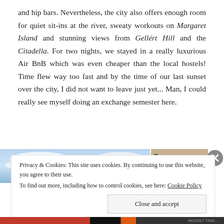and hip bars. Nevertheless, the city also offers enough room for quiet sit-ins at the river, sweaty workouts on Margaret Island and stunning views from Gellért Hill and the Citadella. For two nights, we stayed in a really luxurious Air BnB which was even cheaper than the local hostels! Time flew way too fast and by the time of our last sunset over the city, I did not want to leave just yet... Man, I could really see myself doing an exchange semester here.
[Figure (photo): A photo strip showing a blue sky scene on the left and a partial architectural/city scene on the right. An X close button is overlaid on the top-right.]
Privacy & Cookies: This site uses cookies. By continuing to use this website, you agree to their use.
To find out more, including how to control cookies, see here: Cookie Policy
Close and accept